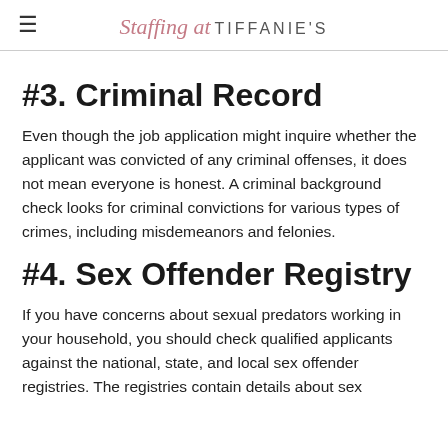Staffing at TIFFANIE'S
#3. Criminal Record
Even though the job application might inquire whether the applicant was convicted of any criminal offenses, it does not mean everyone is honest. A criminal background check looks for criminal convictions for various types of crimes, including misdemeanors and felonies.
#4. Sex Offender Registry
If you have concerns about sexual predators working in your household, you should check qualified applicants against the national, state, and local sex offender registries. The registries contain details about sex